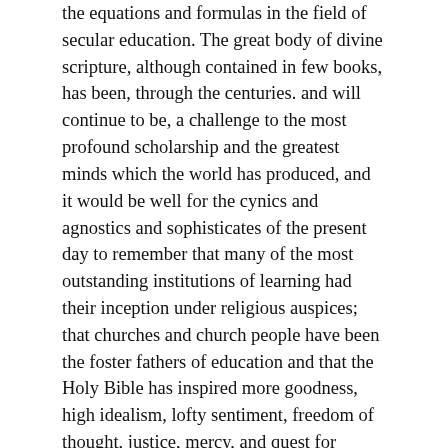the equations and formulas in the field of secular education. The great body of divine scripture, although contained in few books, has been, through the centuries. and will continue to be, a challenge to the most profound scholarship and the greatest minds which the world has produced, and it would be well for the cynics and agnostics and sophisticates of the present day to remember that many of the most outstanding institutions of learning had their inception under religious auspices; that churches and church people have been the foster fathers of education and that the Holy Bible has inspired more goodness, high idealism, lofty sentiment, freedom of thought, justice, mercy, and quest for learning than any other book and perhaps all other books ever produced in all the history of the world. Let no man disdain the intellectuality of spiritual learning.